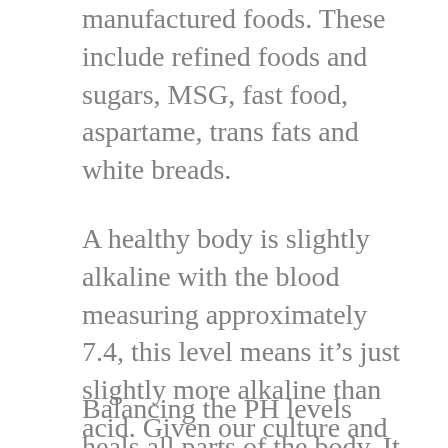manufactured foods. These include refined foods and sugars, MSG, fast food, aspartame, trans fats and white breads.
A healthy body is slightly alkaline with the blood measuring approximately 7.4, this level means it’s just slightly more alkaline than acid. Given our culture and diet, many people are not eating enough fresh alkaline vegetables and fatty acids necessary to balance internal PH levels.
Balancing the PH levels heals all parts of the body. It gives the body a chance to restore and aid the cells and systems in a